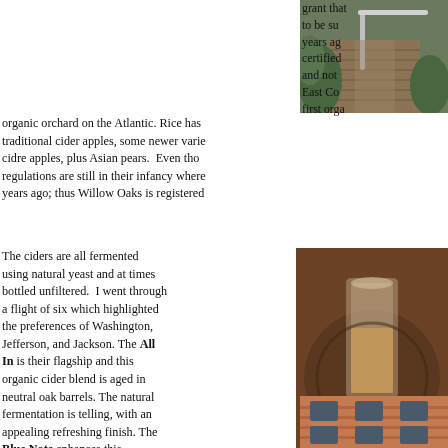[Figure (photo): Wooden boardwalk with metal handrail surrounded by green plants]
grant that to be su years ago certified and not East Co first orga organic orchard on the Atlantic. Rice has traditional cider apples, some newer varie cidre apples, plus Asian pears. Even tho regulations are still in their infancy where years ago; thus Willow Oaks is registered
The ciders are all fermented using natural yeast and at times bottled unfiltered. I went through a flight of six which highlighted the preferences of Washington, Jefferson, and Jackson. The All In is their flagship and this organic cider blend is aged in neutral oak barrels. The natural fermentation is telling, with an appealing refreshing finish. The Blue Note enhances this process with organic blueberries adding tartness and berry fruit to the tangy apples. The Confluence is a ju and Winesap apples with rounded tannins previous tangy ciders. I was all in on this Appearition was the first perry on the flig Pairing - also organic Asian pears, but th ginger juice. Very unique. The final cider, Gloaming, a delicious blend of organic a Tart for sure, but also dry, fruity, and refre
[Figure (photo): Close-up of a glass with cider, brown circular background]
[Figure (photo): Brick building exterior with windows, bottom of page]